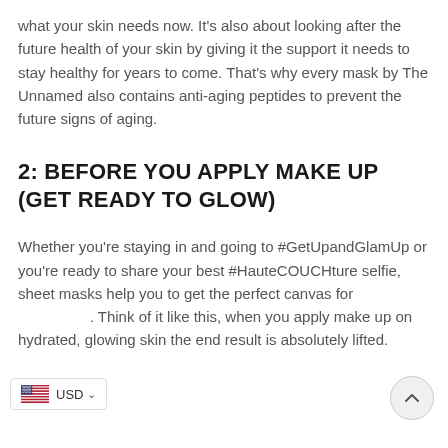what your skin needs now. It's also about looking after the future health of your skin by giving it the support it needs to stay healthy for years to come. That's why every mask by The Unnamed also contains anti-aging peptides to prevent the future signs of aging.
2: BEFORE YOU APPLY MAKE UP (GET READY TO GLOW)
Whether you're staying in and going to #GetUpandGlamUp or you're ready to share your best #HauteCOUCHture selfie, sheet masks help you to get the perfect canvas for make up. Think of it like this, when you apply make up on hydrated, glowing skin the end result is absolutely lifted.